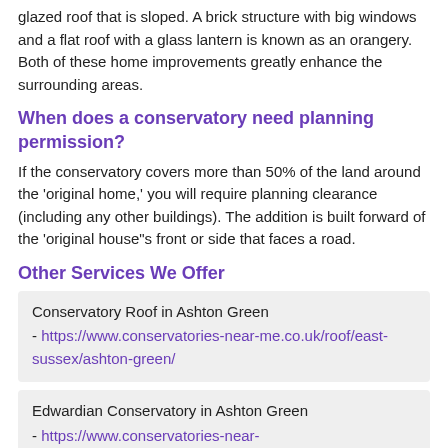glazed roof that is sloped. A brick structure with big windows and a flat roof with a glass lantern is known as an orangery. Both of these home improvements greatly enhance the surrounding areas.
When does a conservatory need planning permission?
If the conservatory covers more than 50% of the land around the 'original home,' you will require planning clearance (including any other buildings). The addition is built forward of the 'original house"s front or side that faces a road.
Other Services We Offer
Conservatory Roof in Ashton Green
- https://www.conservatories-near-me.co.uk/roof/east-sussex/ashton-green/
Edwardian Conservatory in Ashton Green
- https://www.conservatories-near-me.co.uk/edwardian/east-sussex/ashton-green/